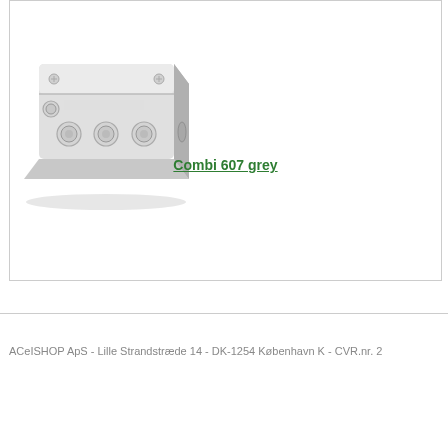[Figure (photo): A grey plastic junction box (Combi 607 grey) with a light grey lid, multiple cable entry knock-outs on the front face, and mounting hardware visible.]
Combi 607 grey
ACeISHOP ApS - Lille Strandstræde 14 - DK-1254 København K - CVR.nr. 2